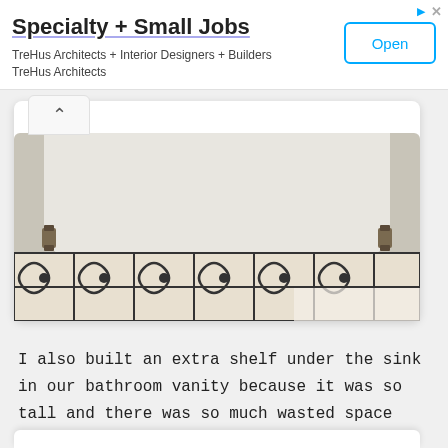[Figure (screenshot): Advertisement banner for TreHus Architects + Interior Designers + Builders with 'Specialty + Small Jobs' heading and an 'Open' button]
[Figure (photo): Photo of the underside of a bathroom vanity sink showing a white shelf and decorative black and white patterned tile floor]
I also built an extra shelf under the sink in our bathroom vanity because it was so tall and there was so much wasted space around the plumbing!